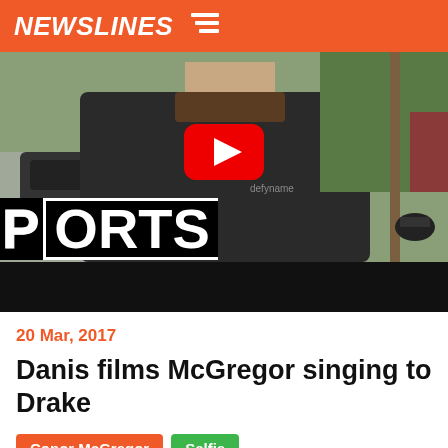NEWSLINES
[Figure (screenshot): Video thumbnail showing a man in a dark t-shirt outdoors on a street, with a YouTube play button overlay and a sports channel watermark text reading 'PORTS' in large bold letters at the bottom left. The lower portion is a black bar.]
20 Mar, 2017
Danis films McGregor singing to Drake
Conor McGregor
Selfie